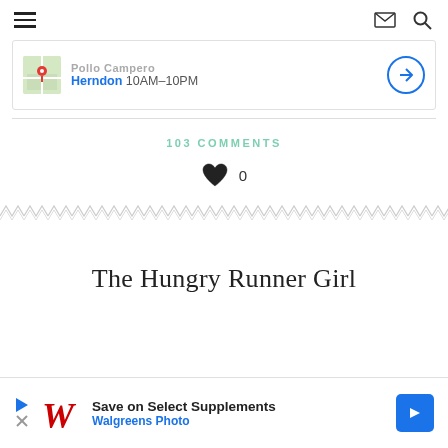≡ (hamburger menu) | envelope icon | search icon
[Figure (infographic): Ad banner for Pollo Campero restaurant in Herndon, showing map pin thumbnail, location name and hours 10AM-10PM, and a navigation arrow button]
103 COMMENTS
[Figure (infographic): Heart icon (like button) followed by the number 0]
[Figure (infographic): Zigzag decorative divider pattern]
The Hungry Runner Girl
[Figure (infographic): Bottom ad banner: Save on Select Supplements - Walgreens Photo, with play button, Walgreens W logo, and blue navigation arrow button]